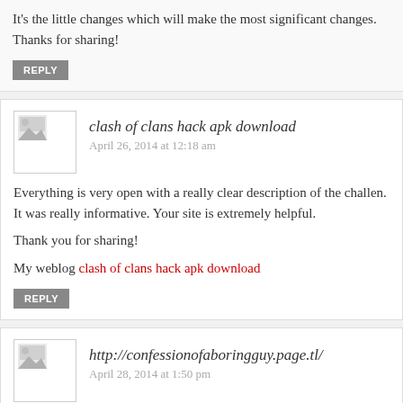It's the little changes which will make the most significant changes. Thanks for sharing!
REPLY
clash of clans hack apk download
April 26, 2014 at 12:18 am
Everything is very open with a really clear description of the challen. It was really informative. Your site is extremely helpful.

Thank you for sharing!

My weblog clash of clans hack apk download
REPLY
http://confessionofaboringguy.page.tl/
April 28, 2014 at 1:50 pm
This features will come in Coffee on Demand(TM) 12-Cup Programmable Coffeemaker. This is because with the fact that a few options and types are available insi